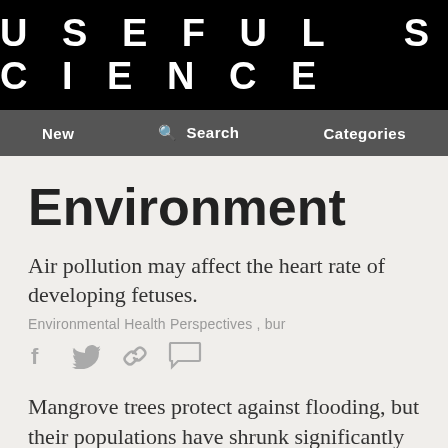USEFUL SCIENCE
New   🔍 Search   Categories
Environment
Air pollution may affect the heart rate of developing fetuses.
Environmental Health Perspectives , bur
[Figure (other): Social sharing icons: Facebook, Twitter, Link, Comment]
Mangrove trees protect against flooding, but their populations have shrunk significantly due to